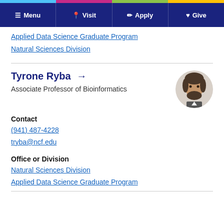Menu | Visit | Apply | Give
Applied Data Science Graduate Program
Natural Sciences Division
Tyrone Ryba →
Associate Professor of Bioinformatics
Contact
(941) 487-4228
tryba@ncf.edu
Office or Division
Natural Sciences Division
Applied Data Science Graduate Program